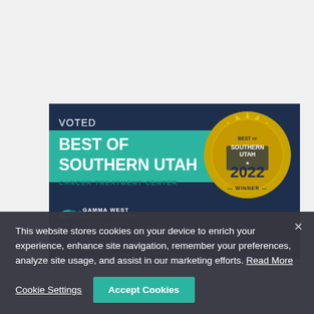[Figure (logo): Gamma West Cancer Services 'Voted Best of Southern Utah Cancer Treatment Center 2022 Winner' promotional banner with teal accent bar, white text on dark navy background, and a gold seal/badge on the right.]
This website stores cookies on your device to enrich your experience, enhance site navigation, remember your preferences, analyze site usage, and assist in our marketing efforts. Read More
Cookie Settings
Accept Cookies